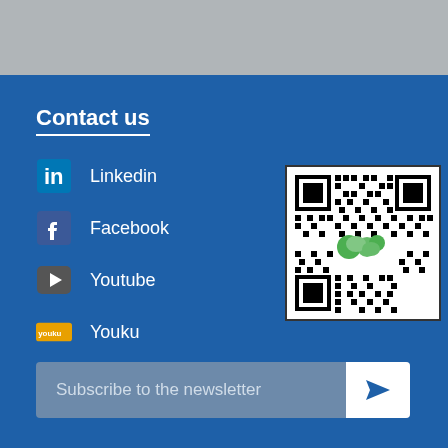[Figure (photo): Gray concrete or stone textured strip at the top of the page]
Contact us
Linkedin
Facebook
Youtube
Youku
[Figure (other): WeChat QR code with green WeChat logo in the center]
Subscribe to the newsletter